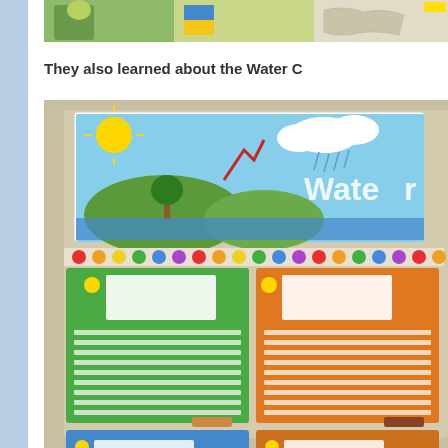[Figure (photo): Top strip photo showing colorful student work or maps displayed on a wall/bulletin board]
They also learned about the Water C
[Figure (photo): Photo of a classroom bulletin board featuring a Water Cycle poster/banner at the top and four student project boards arranged in a 2x2 grid below, on green and orange backgrounds with drawings and lined writing sections]